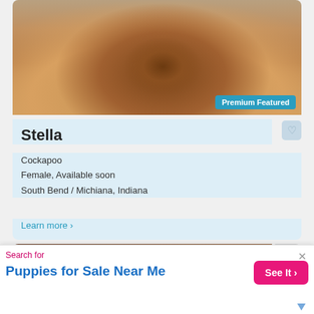[Figure (photo): A small fluffy golden/brown Cockapoo puppy sitting on a striped rug indoors, facing the camera. Badge reading 'Premium Featured' in bottom right corner.]
Stella
Cockapoo
Female, Available soon
South Bend / Michiana, Indiana
Learn more >
[Figure (photo): Partial view of a second puppy listing showing a brown/golden puppy near a wooden door, with a '+' button on the right side.]
Search for
Puppies for Sale Near Me
See It >